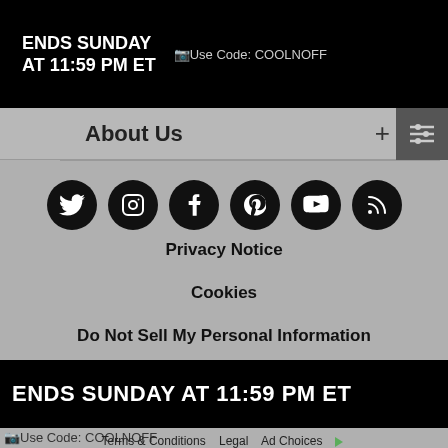ENDS SUNDAY AT 11:59 PM ET
Use Code: COOLNOFF
About Us
[Figure (other): Social media icons row: Twitter, Instagram, Facebook, Pinterest, YouTube, RSS/Blog — black circles with white icons]
ENDS SUNDAY AT 11:59 PM ET
[Figure (other): Close (X) button overlay on the banner]
Use Code: COOLNOFF
Privacy Notice
Cookies
Do Not Sell My Personal Information
CA Supply Chain Act
CA Privacy Rights
Terms & Conditions   Legal   Ad Choices   © 2022 Penney IP LLC